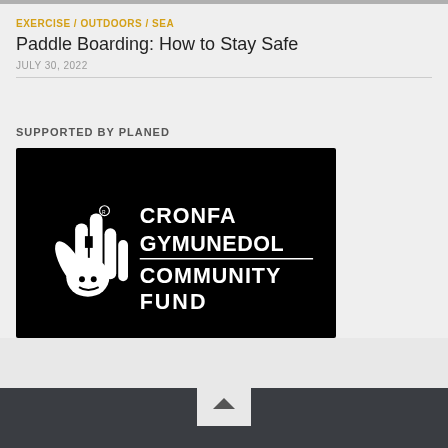EXERCISE / OUTDOORS / SEA
Paddle Boarding: How to Stay Safe
JULY 30, 2022
SUPPORTED BY PLANED
[Figure (logo): Cronfa Gymunedol / Community Fund logo — white hand with crossed fingers on black background with text CRONFA GYMUNEDOL COMMUNITY FUND in white on black]
Back to top button